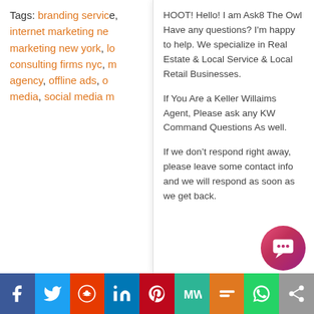Tags: branding service, internet marketing ne..., marketing new york, lo..., consulting firms nyc, m..., agency, offline ads, o..., media, social media m...
HOOT! Hello! I am Ask8 The Owl Have any questions? I'm happy to help. We specialize in Real Estate & Local Service & Local Retail Businesses.

If You Are a Keller Willaims Agent, Please ask any KW Command Questions As well.

If we don't respond right away, please leave some contact info and we will respond as soon as we get back.